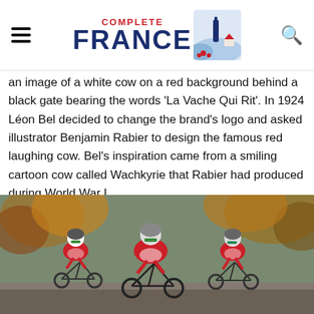COMPLETE FRANCE
an image of a white cow on a red background behind a black gate bearing the words ‘La Vache Qui Rit’. In 1924 Léon Bel decided to change the brand’s logo and asked illustrator Benjamin Rabier to design the famous red laughing cow. Bel’s inspiration came from a smiling cartoon cow called Wachkyrie that Rabier had produced during World War I.
[Figure (photo): Three male cyclists in matching red, white and blue jerseys featuring a laughing cow logo, riding bicycles on a road surrounded by autumn trees. They are wearing helmets and sunglasses and leaning forward on their bikes.]